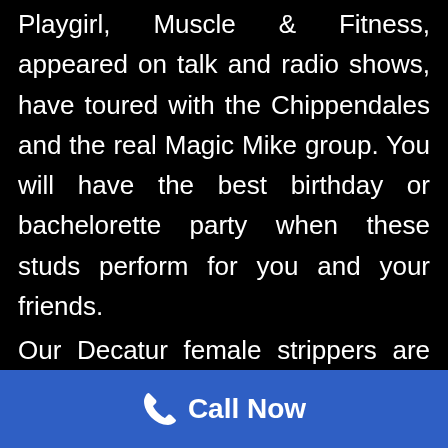Playgirl, Muscle & Fitness, appeared on talk and radio shows, have toured with the Chippendales and the real Magic Mike group. You will have the best birthday or bachelorette party when these studs perform for you and your friends.

Our Decatur female strippers are absolutely beautiful. They have been seen in Playboy, Penthouse and Maxim magazine. They will come to your
Call Now